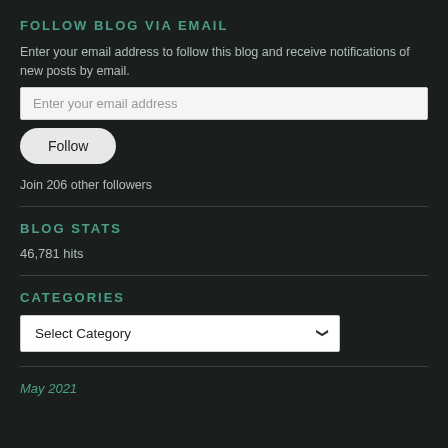FOLLOW BLOG VIA EMAIL
Enter your email address to follow this blog and receive notifications of new posts by email.
[Figure (screenshot): Email input field with placeholder text 'Enter your email address']
[Figure (screenshot): Follow button (rounded pill shape)]
Join 206 other followers
BLOG STATS
46,781 hits
CATEGORIES
[Figure (screenshot): Select Category dropdown]
May 2021